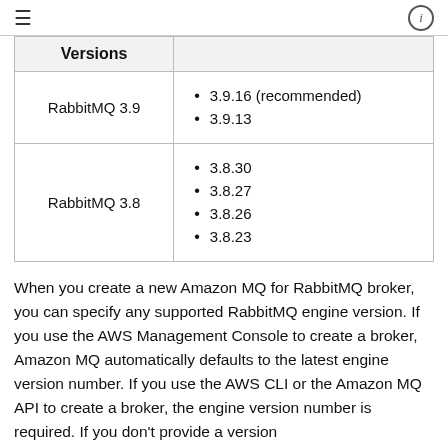≡   ℹ
| Versions |  |
| --- | --- |
| RabbitMQ 3.9 | 3.9.16 (recommended)
3.9.13 |
| RabbitMQ 3.8 | 3.8.30
3.8.27
3.8.26
3.8.23 |
When you create a new Amazon MQ for RabbitMQ broker, you can specify any supported RabbitMQ engine version. If you use the AWS Management Console to create a broker, Amazon MQ automatically defaults to the latest engine version number. If you use the AWS CLI or the Amazon MQ API to create a broker, the engine version number is required. If you don't provide a version